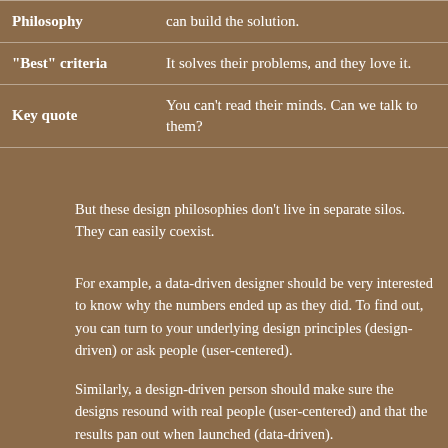|  |  |
| --- | --- |
| Philosophy | can build the solution. |
| "Best" criteria | It solves their problems, and they love it. |
| Key quote | You can't read their minds. Can we talk to them? |
But these design philosophies don't live in separate silos. They can easily coexist.
For example, a data-driven designer should be very interested to know why the numbers ended up as they did. To find out, you can turn to your underlying design principles (design-driven) or ask people (user-centered).
Similarly, a design-driven person should make sure the designs resound with real people (user-centered) and that the results pan out when launched (data-driven).